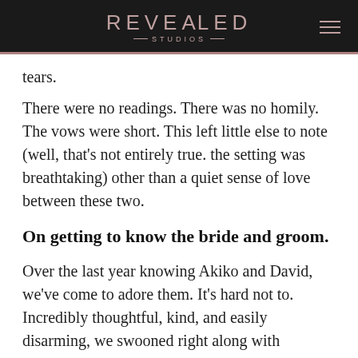REVEALED STUDIOS
tears.
There were no readings. There was no homily. The vows were short. This left little else to note (well, that's not entirely true. the setting was breathtaking) other than a quiet sense of love between these two.
On getting to know the bride and groom.
Over the last year knowing Akiko and David, we've come to adore them. It's hard not to. Incredibly thoughtful, kind, and easily disarming, we swooned right along with